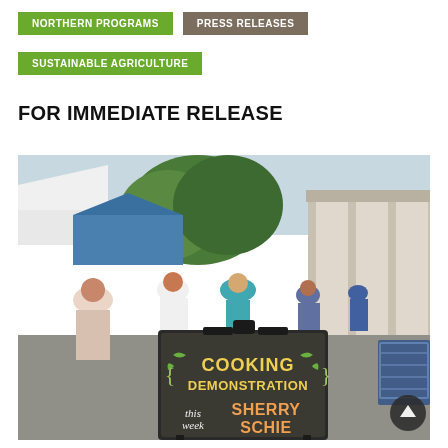NORTHERN PROGRAMS | PRESS RELEASES | SUSTAINABLE AGRICULTURE
FOR IMMEDIATE RELEASE
[Figure (photo): Outdoor farmers market scene with people walking along vendor stalls under a covered structure. In the foreground is a chalkboard A-frame sign reading 'COOKING DEMONSTRATION this week SHERRY SCHIE'. A blue shopping cart is visible on the right side.]